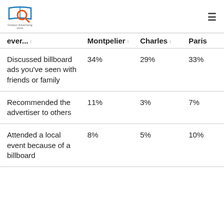Outdoor Advertising Units logo and navigation menu
| ever... | Montpelier | Charles | Paris |
| --- | --- | --- | --- |
| Discussed billboard ads you've seen with friends or family | 34% | 29% | 33% |
| Recommended the advertiser to others | 11% | 3% | 7% |
| Attended a local event because of a billboard | 8% | 5% | 10% |